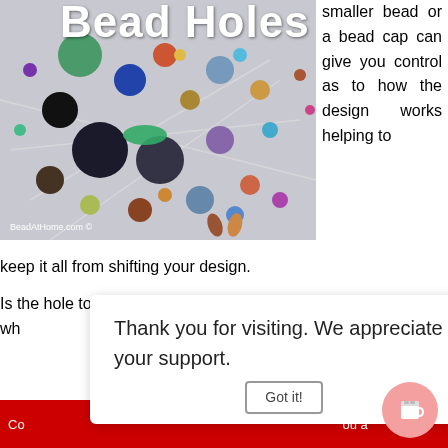Bead Holes
[Figure (photo): Assorted colorful beads scattered on a white surface, showing various sizes, colors and textures. Watermark: BeadAtHome.com ©]
smaller bead or a bead cap can give you control as to how the design works helping to keep it all from shifting your design.
Is the hole too small for the stringing cord to go through… will fall over wh… [partially obscured by notification overlay]
Thank you for visiting. We appreciate your support.
Co… ou a [red banner, partially visible]